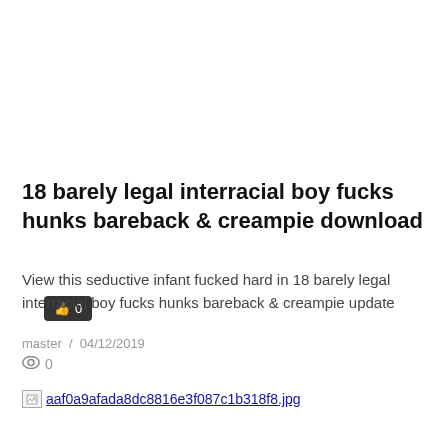[Figure (other): Like/thumbs-up button with count 0 on dark rounded background]
18 barely legal interracial boy fucks hunks bareback & creampie download
View this seductive infant fucked hard in 18 barely legal interracial boy fucks hunks bareback & creampie update
master  /  04/12/2019
👁 0
[Figure (other): Broken image placeholder with filename link: aaf0a9afada8dc8816e3f087c1b318f8.jpg]